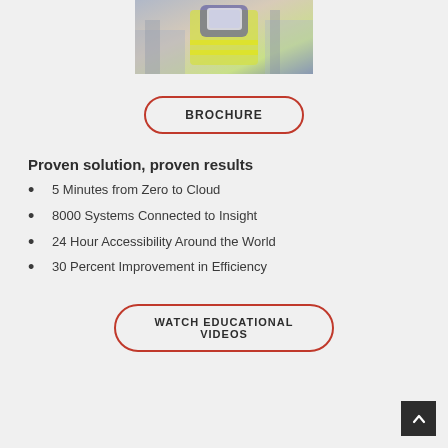[Figure (photo): Worker in yellow high-visibility vest using a laptop, viewed from above/side, industrial setting]
BROCHURE
Proven solution, proven results
5 Minutes from Zero to Cloud
8000 Systems Connected to Insight
24 Hour Accessibility Around the World
30 Percent Improvement in Efficiency
WATCH EDUCATIONAL VIDEOS